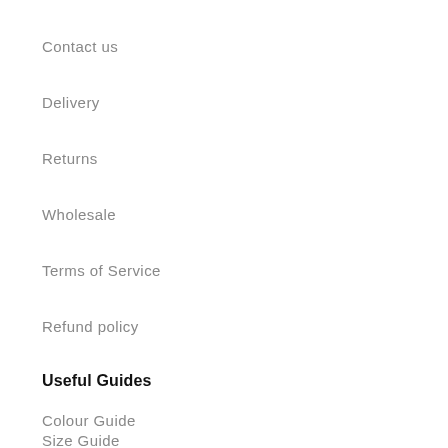Contact us
Delivery
Returns
Wholesale
Terms of Service
Refund policy
Useful Guides
Colour Guide
Size Guide